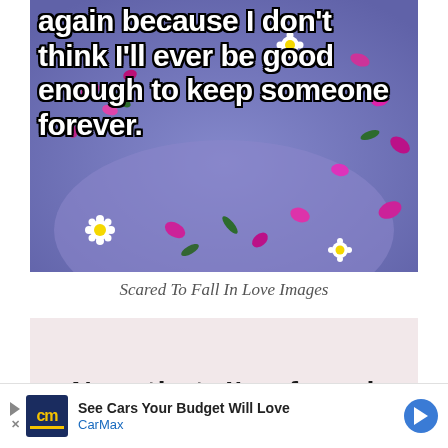[Figure (photo): Purple/blue heart-shaped bowl or plate with pink and white flowers floating, overlaid with white bold text with black outline reading: 'again because I don't think I'll ever be good enough to keep someone forever.']
Scared To Fall In Love Images
[Figure (photo): Light pink/beige background image with bold text beginning 'Now that, I've found']
See Cars Your Budget Will Love CarMax